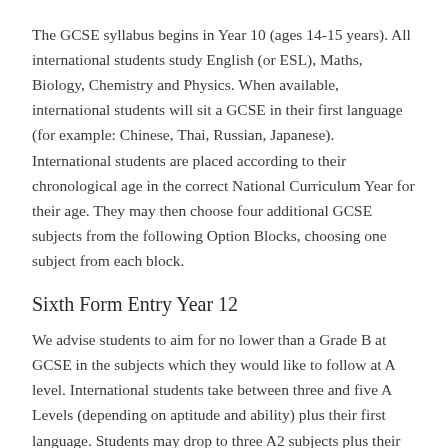The GCSE syllabus begins in Year 10 (ages 14-15 years). All international students study English (or ESL), Maths, Biology, Chemistry and Physics. When available, international students will sit a GCSE in their first language (for example: Chinese, Thai, Russian, Japanese). International students are placed according to their chronological age in the correct National Curriculum Year for their age. They may then choose four additional GCSE subjects from the following Option Blocks, choosing one subject from each block.
Sixth Form Entry Year 12
We advise students to aim for no lower than a Grade B at GCSE in the subjects which they would like to follow at A level. International students take between three and five A Levels (depending on aptitude and ability) plus their first language. Students may drop to three A2 subjects plus their first language in Year 13 if approved by the College. Students